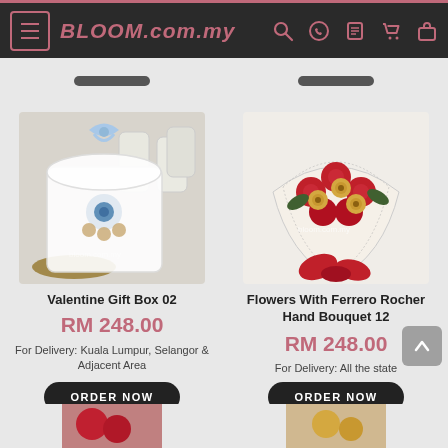BLOOM.com.my
[Figure (photo): Valentine Gift Box 02 - a clear dome gift box with blue ribbon and blue flower inside, displayed with white lanterns in background]
Valentine Gift Box 02
RM 248.00
For Delivery: Kuala Lumpur, Selangor & Adjacent Area
ORDER NOW
[Figure (photo): Flowers With Ferrero Rocher Hand Bouquet 12 - red roses and Ferrero Rocher chocolates wrapped in white lace paper]
Flowers With Ferrero Rocher Hand Bouquet 12
RM 248.00
For Delivery: All the state
ORDER NOW